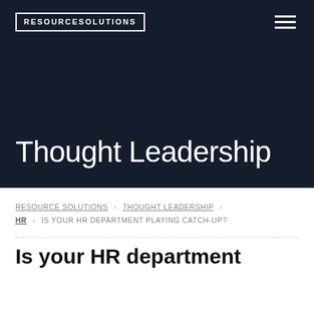[Figure (logo): Resource Solutions logo in white text with white border box on dark background]
Thought Leadership
RESOURCE SOLUTIONS > THOUGHT LEADERSHIP > HR > IS YOUR HR DEPARTMENT PLAYING CATCH-UP?
Is your HR department